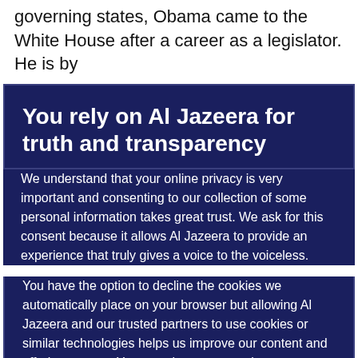governing states, Obama came to the White House after a career as a legislator. He is by
You rely on Al Jazeera for truth and transparency
We understand that your online privacy is very important and consenting to our collection of some personal information takes great trust. We ask for this consent because it allows Al Jazeera to provide an experience that truly gives a voice to the voiceless.
You have the option to decline the cookies we automatically place on your browser but allowing Al Jazeera and our trusted partners to use cookies or similar technologies helps us improve our content and offerings to you. You can change your privacy preferences at any time by selecting ‘Cookie preferences’ at the bottom of your screen. To learn more, please view our Cookie Policy.